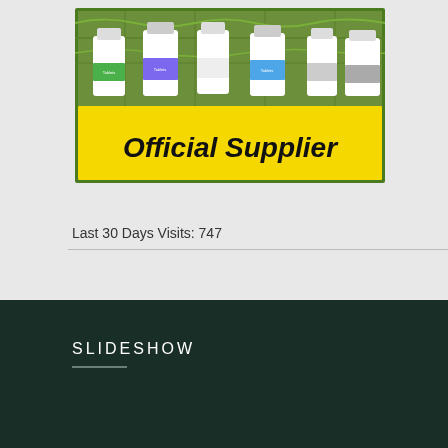[Figure (photo): Pharmaceutical product banner showing multiple medicine bottles with label 'Official Supplier' in bold italic text on yellow background, green border, with circuit board pattern in background]
Last 30 Days Visits: 747
SLIDESHOW